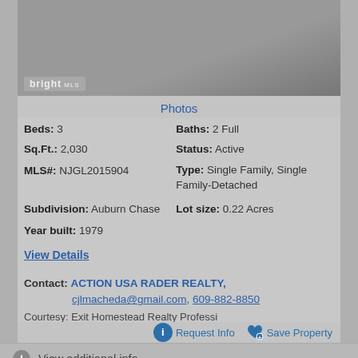[Figure (photo): Property exterior photo with bright MLS watermark logo in bottom left]
Photos
Beds: 3
Baths: 2 Full
Sq.Ft.: 2,030
Status: Active
MLS#: NJGL2015904
Type: Single Family, Single Family-Detached
Subdivision: Auburn Chase
Lot size: 0.22 Acres
Year built: 1979
View Details
Contact: ACTION USA RADER REALTY, cjlmacheda@gmail.com, 609-882-8850
Courtesy: Exit Homestead Realty Professi
Request Info  Save Property
View additional info